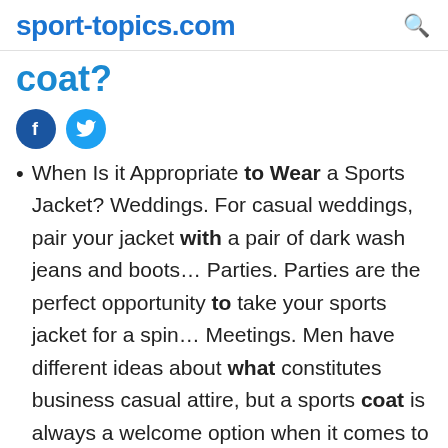sport-topics.com
coat?
[Figure (other): Facebook and Twitter social share buttons]
When Is it Appropriate to Wear a Sports Jacket? Weddings. For casual weddings, pair your jacket with a pair of dark wash jeans and boots… Parties. Parties are the perfect opportunity to take your sports jacket for a spin… Meetings. Men have different ideas about what constitutes business casual attire, but a sports coat is always a welcome option when it comes to this type of dress. Dates…